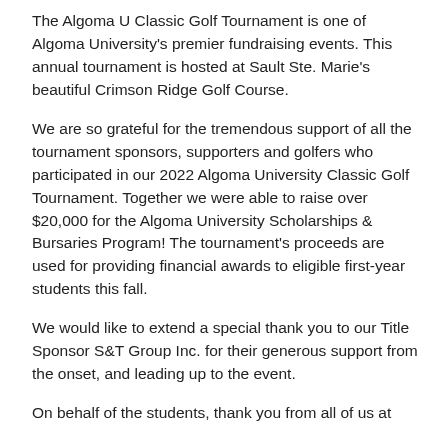The Algoma U Classic Golf Tournament is one of Algoma University's premier fundraising events. This annual tournament is hosted at Sault Ste. Marie's beautiful Crimson Ridge Golf Course.
We are so grateful for the tremendous support of all the tournament sponsors, supporters and golfers who participated in our 2022 Algoma University Classic Golf Tournament. Together we were able to raise over $20,000 for the Algoma University Scholarships & Bursaries Program! The tournament's proceeds are used for providing financial awards to eligible first-year students this fall.
We would like to extend a special thank you to our Title Sponsor S&T Group Inc. for their generous support from the onset, and leading up to the event.
On behalf of the students, thank you from all of us at